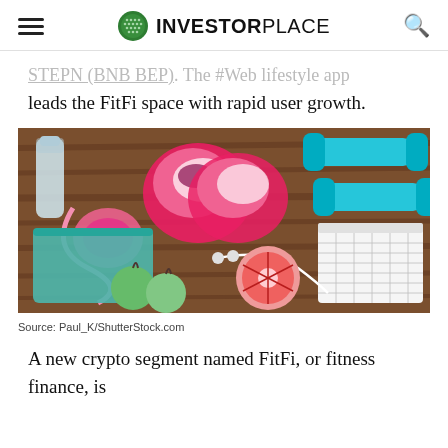InvestorPlace
leads the FitFi space with rapid user growth.
[Figure (photo): Fitness and health items laid out on a wooden surface: pink running shoes, teal dumbbells, a water bottle, a measuring tape, a teal towel, earphones, a grapefruit, green apples, and a notepad.]
Source: Paul_K/ShutterStock.com
A new crypto segment named FitFi, or fitness finance, is